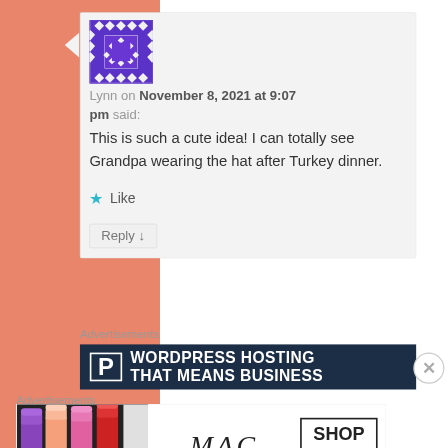[Figure (screenshot): A blog comment section showing a user avatar (purple geometric pattern), a comment by Lynn on November 8, 2021 at 9:07 pm saying 'This is such a cute idea! I can totally see Grandpa wearing the hat after Turkey dinner.' with a Like star button and a Reply button. Below are two advertisement banners: one for WordPress Hosting and one for MAC cosmetics.]
Lynn on November 8, 2021 at 9:07 pm said:
This is such a cute idea! I can totally see Grandpa wearing the hat after Turkey dinner.
★ Like
Reply ↓
Advertisements
[Figure (screenshot): WordPress Hosting advertisement banner with dark navy background, letter P logo, and text 'WORDPRESS HOSTING THAT MEANS BUSINESS']
Advertisements
[Figure (advertisement): MAC cosmetics advertisement showing colorful lipsticks on left, MAC italic logo in center, and SHOP NOW button on right]